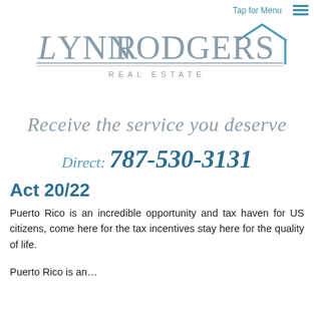Tap for Menu
[Figure (logo): Lynn Rodgers Real Estate logo with house icon and two horizontal decorative lines]
Receive the service you deserve
Direct: 787-530-3131
Act 20/22
Puerto Rico is an incredible opportunity and tax haven for US citizens, come here for the tax incentives stay here for the quality of life.
Puerto Rico is...